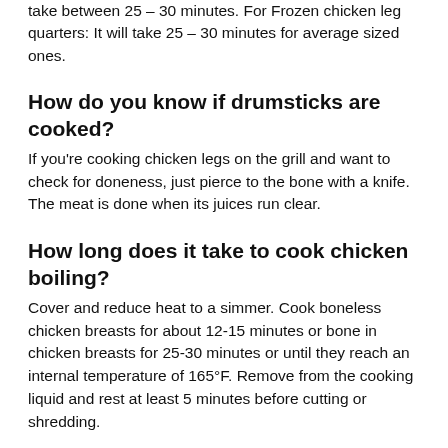take between 25 – 30 minutes. For Frozen chicken leg quarters: It will take 25 – 30 minutes for average sized ones.
How do you know if drumsticks are cooked?
If you're cooking chicken legs on the grill and want to check for doneness, just pierce to the bone with a knife. The meat is done when its juices run clear.
How long does it take to cook chicken boiling?
Cover and reduce heat to a simmer. Cook boneless chicken breasts for about 12-15 minutes or bone in chicken breasts for 25-30 minutes or until they reach an internal temperature of 165°F. Remove from the cooking liquid and rest at least 5 minutes before cutting or shredding.
Can you overcook drumsticks?
We all know the golden rule of cooking chicken: Don't